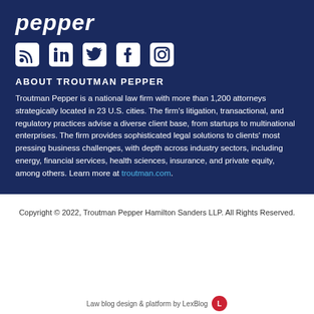[Figure (logo): Troutman Pepper law firm logo text in white italic bold font on dark navy background]
[Figure (infographic): Row of five social media icons: RSS feed, LinkedIn, Twitter, Facebook, Instagram — all white on dark navy background]
ABOUT TROUTMAN PEPPER
Troutman Pepper is a national law firm with more than 1,200 attorneys strategically located in 23 U.S. cities. The firm's litigation, transactional, and regulatory practices advise a diverse client base, from startups to multinational enterprises. The firm provides sophisticated legal solutions to clients' most pressing business challenges, with depth across industry sectors, including energy, financial services, health sciences, insurance, and private equity, among others. Learn more at troutman.com.
Copyright © 2022, Troutman Pepper Hamilton Sanders LLP. All Rights Reserved.
Law blog design & platform by LexBlog